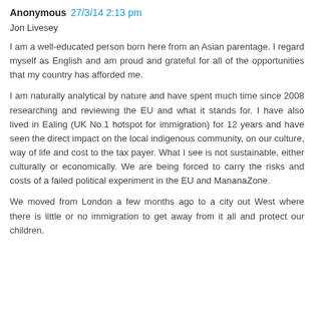Anonymous 27/3/14 2:13 pm
Jon Livesey
I am a well-educated person born here from an Asian parentage. I regard myself as English and am proud and grateful for all of the opportunities that my country has afforded me.
I am naturally analytical by nature and have spent much time since 2008 researching and reviewing the EU and what it stands for. I have also lived in Ealing (UK No.1 hotspot for immigration) for 12 years and have seen the direct impact on the local indigenous community, on our culture, way of life and cost to the tax payer. What I see is not sustainable, either culturally or economically. We are being forced to carry the risks and costs of a failed political experiment in the EU and MananaZone.
We moved from London a few months ago to a city out West where there is little or no immigration to get away from it all and protect our children.